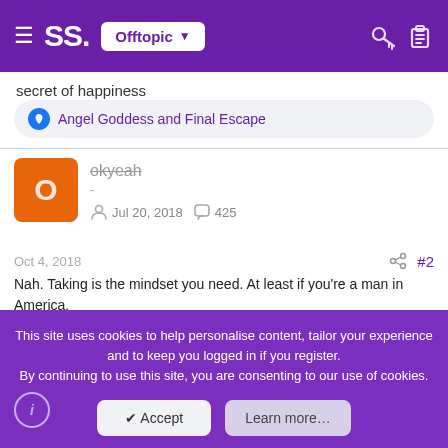SS. Offtopic
secret of happiness
Angel Goddess and Final Escape
okyeah
-
Jul 20, 2018   425
Oct 4, 2018   #2
Nah. Taking is the mindset you need. At least if you're a man in America.
This site uses cookies to help personalise content, tailor your experience and to keep you logged in if you register.
By continuing to use this site, you are consenting to our use of cookies.
Accept
Learn more…